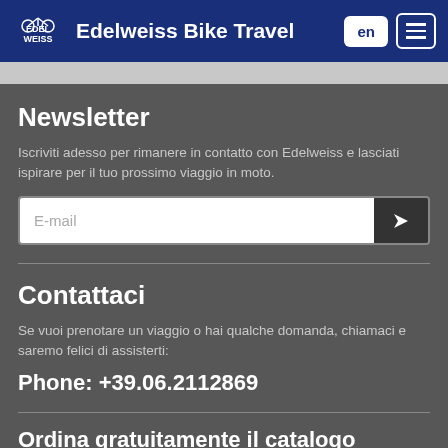Edelweiss Bike Travel
Newsletter
Iscriviti adesso per rimanere in contatto con Edelweiss e lasciati ispirare per il tuo prossimo viaggio in moto.
E-mail
Contattaci
Se vuoi prenotare un viaggio o hai qualche domanda, chiamaci e saremo felici di assisterti:
Phone: +39.06.2112869
Ordina gratuitamente il catalogo